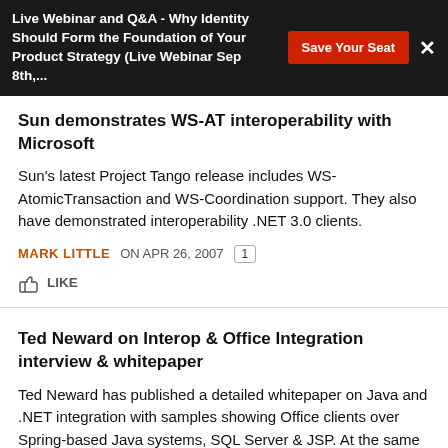Live Webinar and Q&A - Why Identity Should Form the Foundation of Your Product Strategy (Live Webinar Sep 8th,...
Sun demonstrates WS-AT interoperability with Microsoft
Sun's latest Project Tango release includes WS-AtomicTransaction and WS-Coordination support. They also have demonstrated interoperability .NET 3.0 clients.
MARK LITTLE ON APR 26, 2007  1  LIKE
Ted Neward on Interop & Office Integration interview & whitepaper
Ted Neward has published a detailed whitepaper on Java and .NET integration with samples showing Office clients over Spring-based Java systems, SQL Server & JSP. At the same time InfoQ has published a video interview with Ted that talks further about Office integration possibilities as well as various interop approaches (in-proc, messaging,